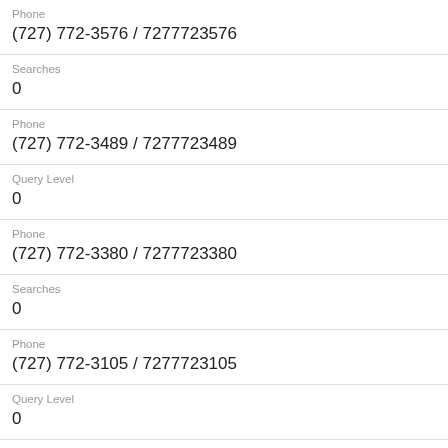Phone
(727) 772-3576 / 7277723576
Searches
0
Phone
(727) 772-3489 / 7277723489
Query Level
0
Phone
(727) 772-3380 / 7277723380
Searches
0
Phone
(727) 772-3105 / 7277723105
Query Level
0
Phone
(727) 772-3665 / 7277723665
Searches